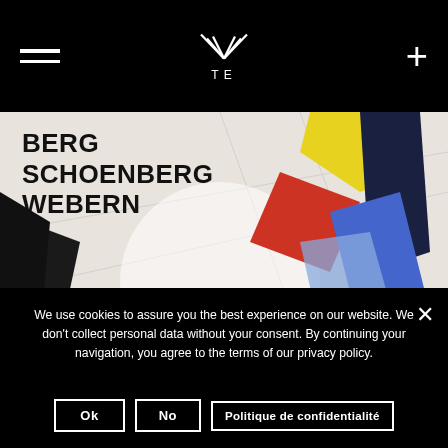Navigation bar with hamburger menu, TE logo, and plus icon
[Figure (photo): Abstract geometric artwork with colored shapes (yellow, red, dark navy, blue) on a white background, overlaid with text reading BERG / SCHOENBERG / WEBERN]
BERG
SCHOENBERG
WEBERN
We use cookies to assure you the best experience on our website. We don't collect personal data without your consent. By continuing your navigation, you agree to the terms of our privacy policy.
Ok
No
Politique de confidentialité